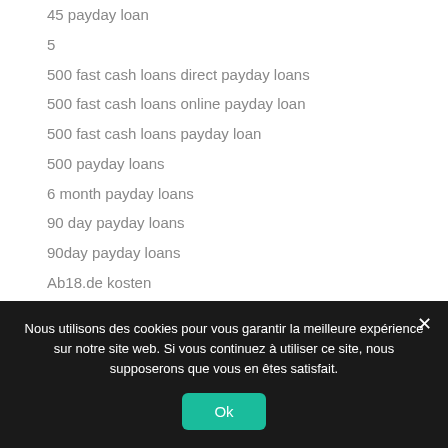45 payday loan
5
500 fast cash loans direct payday loans
500 fast cash loans online payday loan
500 fast cash loans payday loan
500 payday loans
6 month payday loans
90 day payday loans
90day payday loans
Ab18.de kosten
Nous utilisons des cookies pour vous garantir la meilleure expérience sur notre site web. Si vous continuez à utiliser ce site, nous supposerons que vous en êtes satisfait.
Ok